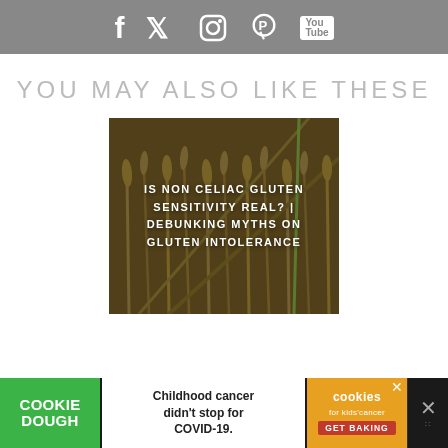Social media icons: Facebook, Twitter, Instagram, Pinterest, YouTube
YOU MAY ALSO LIKE THESE
[Figure (photo): Wheat field image with overlay text: IS NON CELIAC GLUTEN SENSITIVITY REAL? | DEBUNKING MYTHS ON GLUTEN INTOLERANCE]
[Figure (infographic): Cookie Dough advertisement banner: 'Childhood cancer didn't stop for COVID-19.' with cookies for kids cancer logo and GET BAKING call to action]